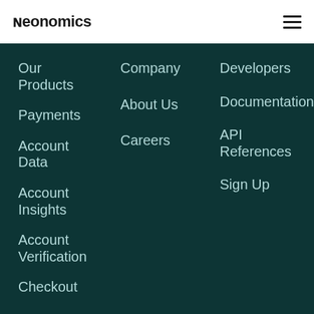Neonomics
Our Products
Payments
Account Data
Account Insights
Account Verification
Checkout
Company
About Us
Careers
Developers
Documentation
API References
Sign Up